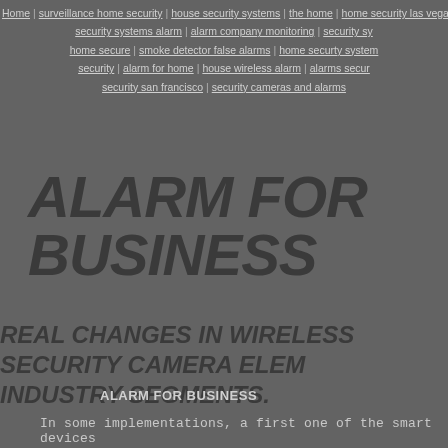Home | surveillance home security | house security systems | the home | home security las vegas | help alert | emergency bu | security systems alarm | alarm company monitoring | security sy | home secure | smoke detector false alarms | home securty system | security | alarm for home | house wireless alarm | alarms secur | security san francisco | security cameras and alarms
ALARM FOR BUSINESS
REAL CHANGES IN WIRELESS SECURITY CAMERA ELEM INDUSTRY SEGMENTS.
ALARM FOR BUSINESS
In some implementations, a first one of the smart devices